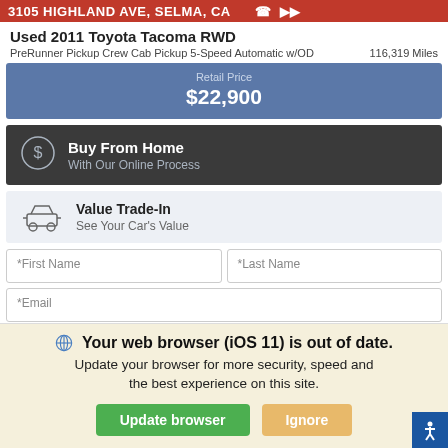3105 HIGHLAND AVE, SELMA, CA
Used 2011 Toyota Tacoma RWD
PreRunner Pickup Crew Cab Pickup 5-Speed Automatic w/OD   116,319 Miles
Retail Price $22,900
Buy From Home With Our Online Process
Value Trade-In See Your Car's Value
*First Name  *Last Name  *Email
Your web browser (iOS 11) is out of date. Update your browser for more security, speed and the best experience on this site.
Update browser  Ignore